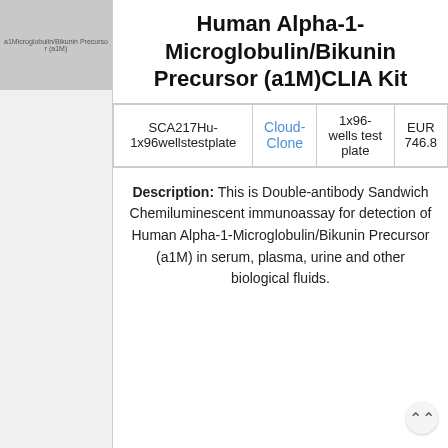[Figure (logo): Gray placeholder logo area with text 'a1Microglobulin/Bikunin Precursor (a1M)']
Human Alpha-1-Microglobulin/Bikunin Precursor (a1M)CLIA Kit
| Product ID | Vendor | Size | Price |
| --- | --- | --- | --- |
| SCA217Hu-1x96wellstestplate | Cloud-Clone | 1x96-wells test plate | EUR 746.8 |
Description: This is Double-antibody Sandwich Chemiluminescent immunoassay for detection of Human Alpha-1-Microglobulin/Bikunin Precursor (a1M) in serum, plasma, urine and other biological fluids.